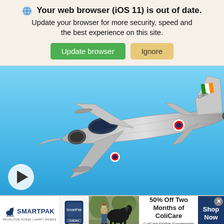Your web browser (iOS 11) is out of date. Update your browser for more security, speed and the best experience on this site. [Update browser] [Ignore]
[Figure (photo): Silver military jet fighter (MiG-21 with Indian Air Force markings) flying against a blue sky, with afterburner glowing orange, viewed from below and slightly behind. A video play button is visible in the bottom-left corner.]
[Figure (infographic): SmartPak advertisement banner: SmartPak logo with horse icon on left, product image in center-left, woman with horse photo in center, '50% Off Two Months of ColiCare, ColiCare Eligible Supplements, CODE: COLICARE10' text, and 'Shop Now' button on right. Close X button in top-right corner.]